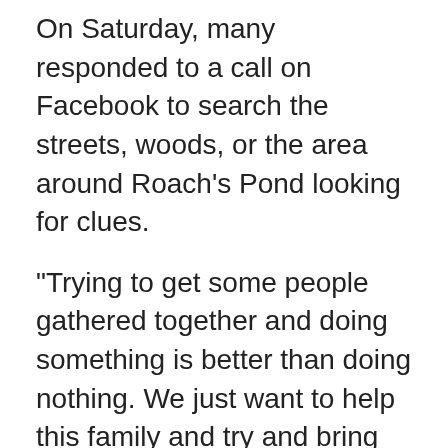On Saturday, many responded to a call on Facebook to search the streets, woods, or the area around Roach's Pond looking for clues.
"Trying to get some people gathered together and doing something is better than doing nothing. We just want to help this family and try and bring Devon back home," said Terene Murphy, one of the search organizers.
"We gotta find him or help get the family some closure cause it's rough," said Giselle Cunningham, one of the searchers.
Gray has gone around the region looking for her son.
"I've been so far as Yarmouth and Digby. I've been to Windsor. I've been to Kentville and